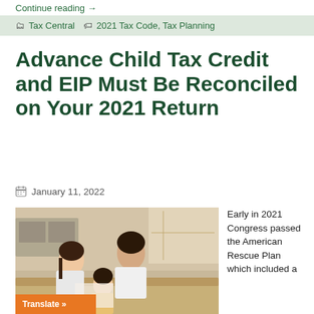Continue reading →
🗂 Tax Central  🏷 2021 Tax Code, Tax Planning
Advance Child Tax Credit and EIP Must Be Reconciled on Your 2021 Return
January 11, 2022
[Figure (photo): Asian family with parents and young child looking at documents together on a couch]
Early in 2021 Congress passed the American Rescue Plan which included a